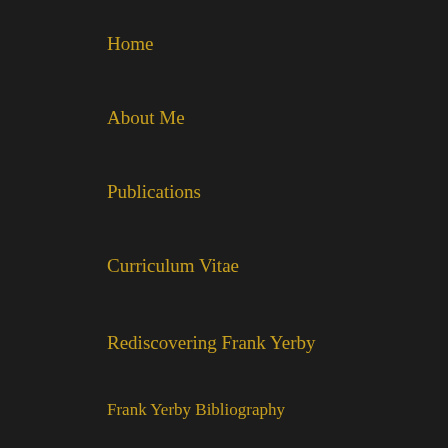Home
About Me
Publications
Curriculum Vitae
Rediscovering Frank Yerby
Frank Yerby Bibliography
Syllabi
Contact
TOP POSTS & PAGES
Judges 19 and Arnold Friend's Enigmatic Code
Broomhilda and the History of Slavery in "Django